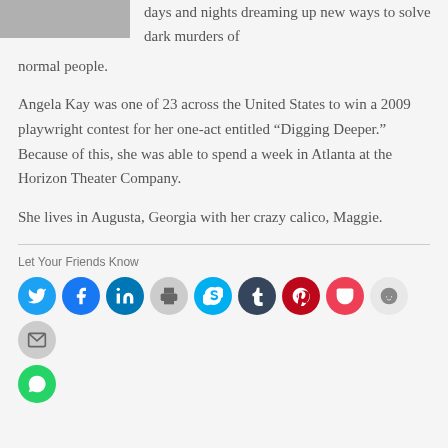[Figure (photo): Partial photo of a person, cropped at top]
days and nights dreaming up new ways to solve dark murders of normal people.
Angela Kay was one of 23 across the United States to win a 2009 playwright contest for her one-act entitled “Digging Deeper.” Because of this, she was able to spend a week in Atlanta at the Horizon Theater Company.
She lives in Augusta, Georgia with her crazy calico, Maggie.
Let Your Friends Know
[Figure (infographic): Social sharing buttons: Twitter, Facebook, LinkedIn, Print, Skype, Tumblr, Pinterest, Pocket, Reddit, Email, WhatsApp]